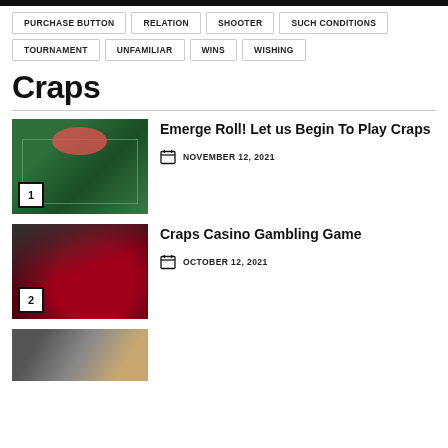PURCHASE BUTTON
RELATION
SHOOTER
SUCH CONDITIONS
TOURNAMENT
UNFAMILIAR
WINS
WISHING
Craps
[Figure (photo): Casino craps table with green felt and red chips, numbered badge 1]
Emerge Roll! Let us Begin To Play Craps
NOVEMBER 12, 2021
[Figure (photo): Casino roulette table close-up with red wheel and chips, numbered badge 2]
Craps Casino Gambling Game
OCTOBER 12, 2021